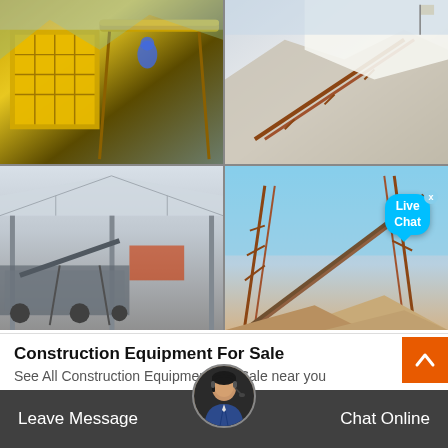[Figure (photo): Four-panel photo grid of construction and mining equipment: top-left shows yellow crusher/impact machine with conveyor at a quarry; top-right shows conveyor belt systems on a rocky hillside quarry; bottom-left shows mobile crushing/screening plant inside a large industrial shed; bottom-right shows large conveyor stockpile systems at an open-air mining site. A 'Live Chat' bubble overlay appears on the right side.]
Construction Equipment For Sale
See All Construction Equipment For Sale near you
Leave Message
Chat Online